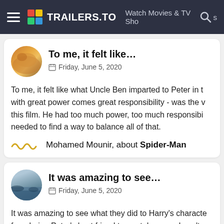TRAILERS.TO — Watch Movies & TV Shows
To me, it felt like…
Friday, June 5, 2020
To me, it felt like what Uncle Ben imparted to Peter in t… with great power comes great responsibility - was the v… this film. He had too much power, too much responsibi… needed to find a way to balance all of that.
Mohamed Mounir, about Spider-Man
It was amazing to see…
Friday, June 5, 2020
It was amazing to see what they did to Harry's characte… from being Peter's best friend to mortal enemy. I can't…